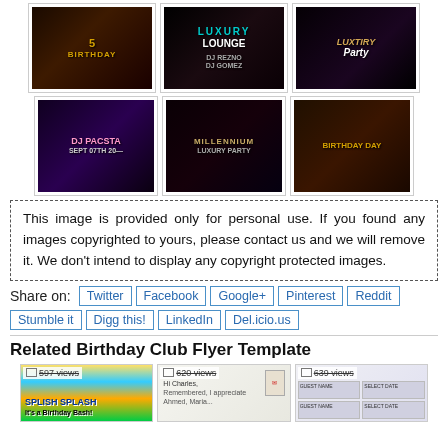[Figure (photo): Top row of three nightclub/birthday flyer thumbnail images]
[Figure (photo): Second row of three nightclub/birthday flyer thumbnail images: DJ Pacsta, a suited figure, Birthday Day]
This image is provided only for personal use. If you found any images copyrighted to yours, please contact us and we will remove it. We don't intend to display any copyright protected images.
Share on:  Twitter  Facebook  Google+  Pinterest  Reddit  Stumble it  Digg this!  LinkedIn  Del.icio.us
Related Birthday Club Flyer Template
[Figure (screenshot): Three related flyer thumbnails with view counts: 597 views, 620 views, 639 views]